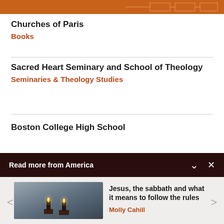[Figure (illustration): Orange header strip with diagram lines and boxes]
Churches of Paris
Books
Sacred Heart Seminary and School of Theology
Seminaries & Theology Studies
Boston College High School
Read more from America
[Figure (photo): Two lit candles in candlesticks on dark surface]
Jesus, the sabbath and what it means to follow the rules
Molly Cahill